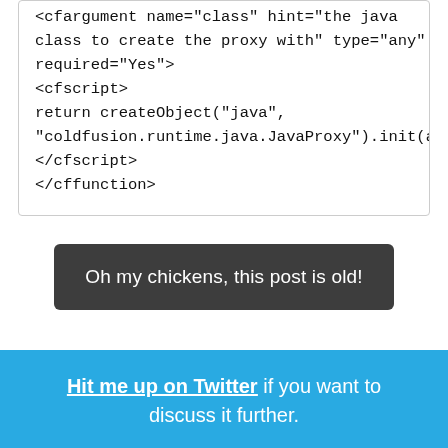<cfargument name="class" hint="the java class to create the proxy with" type="any" required="Yes">
<cfscript>
return createObject("java", "coldfusion.runtime.java.JavaProxy").init(argume...
</cfscript>
</cffunction>
Oh my chickens, this post is old!
Hit me up on Twitter if you want to discuss it further.